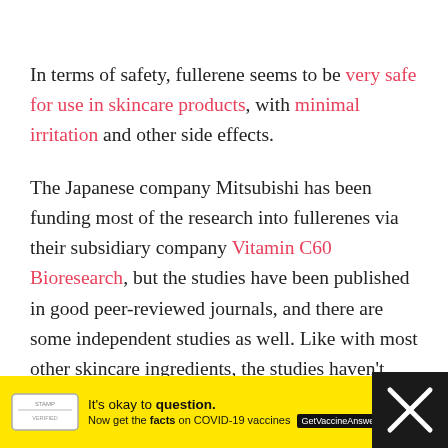In terms of safety, fullerene seems to be very safe for use in skincare products, with minimal irritation and other side effects.
The Japanese company Mitsubishi has been funding most of the research into fullerenes via their subsidiary company Vitamin C60 Bioresearch, but the studies have been published in good peer-reviewed journals, and there are some independent studies as well. Like with most other skincare ingredients, the studies haven't been done on large p...
[Figure (other): Yellow advertisement banner for 'It's okay to question.' COVID-19 vaccine information campaign with GetVaccineAnswers.org badge and a close button.]